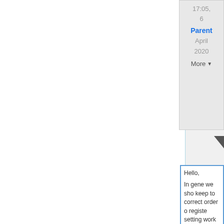17:05,
6
April
2020
Parent
More ▼
[Figure (other): Dropdown arrow triangle pointing downward]
Hello,

In gene we sho keep to correct order o registe setting work correct

It is po to mist the or